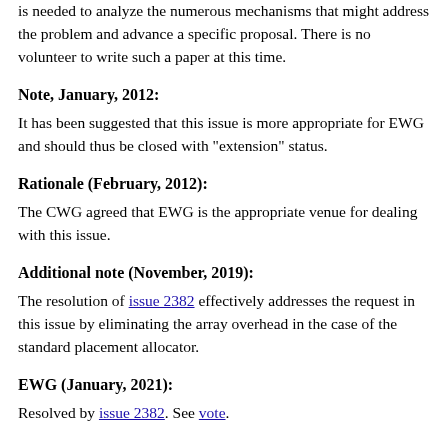is needed to analyze the numerous mechanisms that might address the problem and advance a specific proposal. There is no volunteer to write such a paper at this time.
Note, January, 2012:
It has been suggested that this issue is more appropriate for EWG and should thus be closed with "extension" status.
Rationale (February, 2012):
The CWG agreed that EWG is the appropriate venue for dealing with this issue.
Additional note (November, 2019):
The resolution of issue 2382 effectively addresses the request in this issue by eliminating the array overhead in the case of the standard placement allocator.
EWG (January, 2021):
Resolved by issue 2382. See vote.